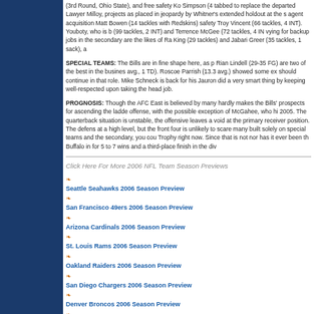(3rd Round, Ohio State), and free safety Ko Simpson (4th Round, West Virginia)... vying for backup jobs in the secondary are the likes of Ra... King (29 tackles) and Jabari Greer (35 tackles, 1 sack), a...
SPECIAL TEAMS: The Bills are in fine shape here, as p... Rian Lindell (29-35 FG) are two of the best in the busine... avg., 1 TD). Roscoe Parrish (13.3 avg.) showed some ex... should continue in that role. Mike Schneck is back for his... Jauron did a very smart thing by keeping well-respected ... upon taking the head job.
PROGNOSIS: Though the AFC East is believed by many... hardly makes the Bills' prospects for ascending the ladde... offense, with the possible exception of McGahee, who hi... 2005. The quarterback situation is unstable, the offensive... leaves a void at the primary receiver position. The defens... at a high level, but the front four is unlikely to scare many... built solely on special teams and the secondary, you cou... Trophy right now. Since that is not nor has it ever been th... Buffalo in for 5 to 7 wins and a third-place finish in the div...
Click Here For More 2006 NFL Team Season Preview:
Seattle Seahawks 2006 Season Preview
San Francisco 49ers 2006 Season Preview
Arizona Cardinals 2006 Season Preview
St. Louis Rams 2006 Season Preview
Oakland Raiders 2006 Season Preview
San Diego Chargers 2006 Season Preview
Denver Broncos 2006 Season Preview
Kansas City Chiefs 2006 Season Preview
Chicago Bears 2006 Season Preview